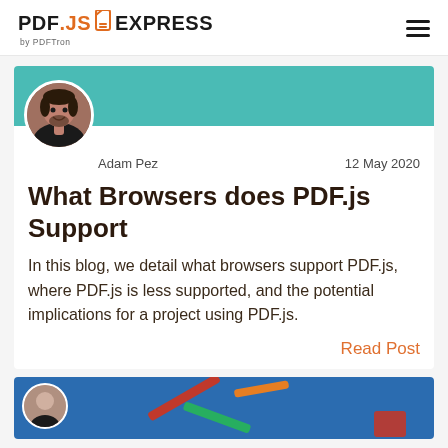[Figure (logo): PDF.JS Express by PDFTron logo with hamburger menu icon]
[Figure (photo): Blog card with teal header image, circular author photo of Adam Pez]
Adam Pez    12 May 2020
What Browsers does PDF.js Support
In this blog, we detail what browsers support PDF.js, where PDF.js is less supported, and the potential implications for a project using PDF.js.
Read Post
[Figure (illustration): Partial blog card with blue background showing diagonal colored bars (red, green, orange)]